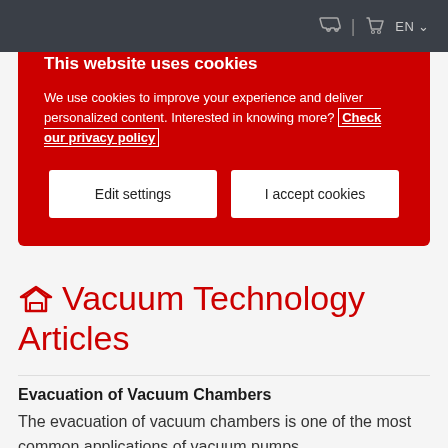EN
This website uses cookies
We use cookies to improve your experience and deliver personalized content. Interested in knowing more? Check our privacy policy
Edit settings
I accept cookies
Vacuum Technology Articles
Evacuation of Vacuum Chambers
The evacuation of vacuum chambers is one of the most common applications of vacuum pumps...